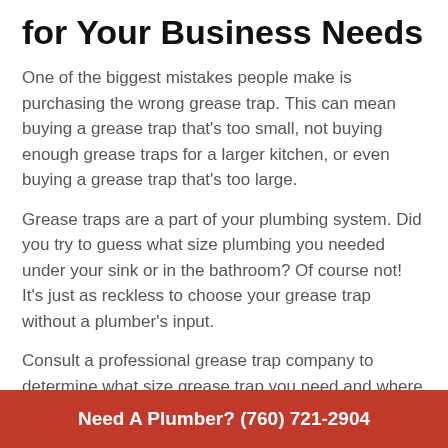for Your Business Needs
One of the biggest mistakes people make is purchasing the wrong grease trap. This can mean buying a grease trap that's too small, not buying enough grease traps for a larger kitchen, or even buying a grease trap that's too large.
Grease traps are a part of your plumbing system. Did you try to guess what size plumbing you needed under your sink or in the bathroom? Of course not! It's just as reckless to choose your grease trap without a plumber's input.
Consult a professional grease trap company to determine what size grease trap you need and where it should be installed for maximum efficiency.
Need A Plumber? (760) 721-2904